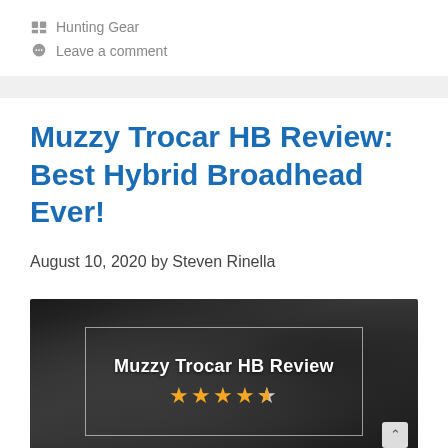Hunting Gear
Leave a comment
Muzzy Trocar HB Review: Best Hybrid Broadhead Ever!
August 10, 2020 by Steven Rinella
[Figure (photo): Dark background photo of broadhead arrows/tips with an overlay box containing 'Muzzy Trocar HB Review' text and 4.5 star rating]